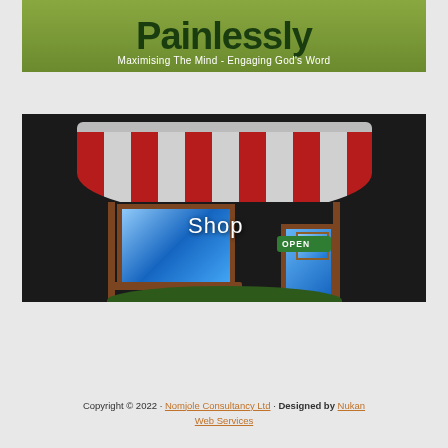[Figure (illustration): Book cover banner showing 'Painlessly' title in dark green on olive/green background with subtitle 'Maximising The Mind - Engaging God's Word' in white text]
[Figure (illustration): Illustration of a shop storefront with red and white striped awning, window display, door with OPEN sign, and grass at bottom. Text overlay reads 'Shop']
Copyright © 2022 · Nomjole Consultancy Ltd · Designed by Nukan Web Services